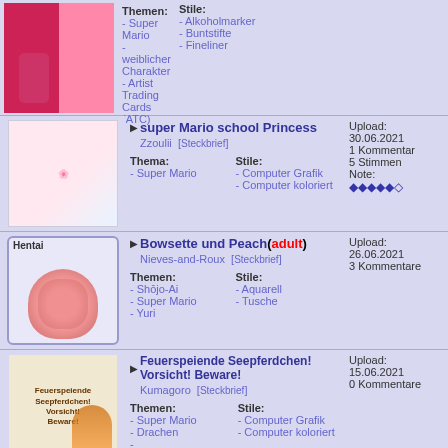| Thumbnail | Content | Upload Info |
| --- | --- | --- |
| [image] | Themen: Super Mario, weiblicher Charakter, Artist Trading Cards (ATC) | Stile: Alkoholmarker, Buntstifte, Fineliner |  |
| [image] | super Mario school Princess | Zzoulii [Steckbrief] | Thema: Super Mario | Stile: Computer Grafik, Computer koloriert | Upload: 30.06.2021 1 Kommentar 5 Stimmen Note: ◆◆◆◆◆◇ |
| [Hentai image] | Bowsette und Peach (adult) | Nieves-and-Roux [Steckbrief] | Themen: Shōjo-Ai, Super Mario, Yuri | Stile: Aquarell, Tusche | Upload: 26.06.2021 3 Kommentare |
| [image] | Feuerspeiende Seepferdchen! Vorsicht! Beware! | Kumagoro [Steckbrief] | Themen: Super Mario, Drachen, Internetberühmtheiten | Stile: Computer Grafik, Computer koloriert | Upload: 15.06.2021 0 Kommentare |
| [image] | Bowsette und Peach! | Schpog [Steckbrief] | Upload: 30.04.2021 0 Kommentare |